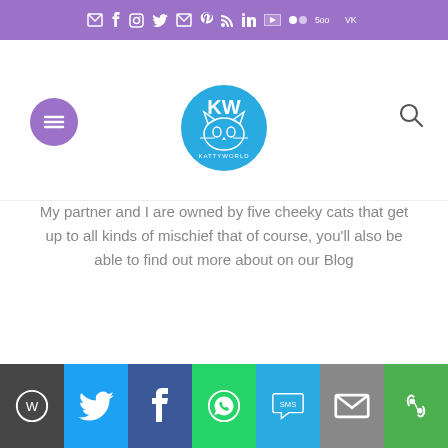Social media icon bar (email, facebook, instagram, twitter, mail, pinterest, rss, linkedin, youtube, flickr, 500px, vk)
[Figure (logo): KattyWorld blog logo — circular teal logo with a cat face and 'KW' text]
My partner and I are owned by five cheeky cats that get up to all kinds of mischief that of course, you'll also be able to find out more about on our Blog
Share bar: WordPress, Twitter, Facebook, WhatsApp, SMS, Email, More